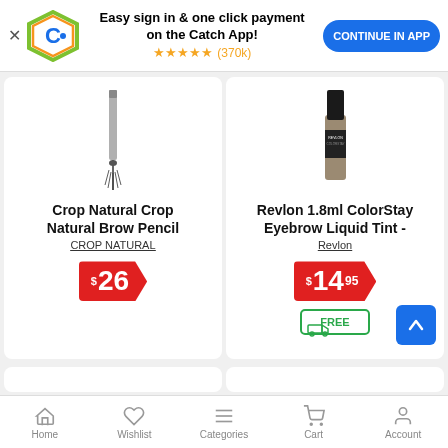[Figure (screenshot): App install banner with Catch logo, text 'Easy sign in & one click payment on the Catch App!', 5-star rating (370k), and 'CONTINUE IN APP' button]
[Figure (photo): Crop Natural Brow Pencil product image - thin pencil with brush end]
Crop Natural Crop Natural Brow Pencil
CROP NATURAL
$26
[Figure (photo): Revlon 1.8ml ColorStay Eyebrow Liquid Tint product image - mascara-style tube]
Revlon 1.8ml ColorStay Eyebrow Liquid Tint -
Revlon
$14.95
FREE (shipping icon)
Home  Wishlist  Categories  Cart  Account